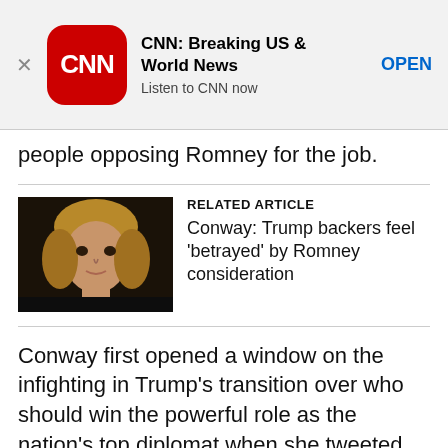[Figure (infographic): CNN app advertisement banner with CNN logo (red rounded square), title 'CNN: Breaking US & World News', subtitle 'Listen to CNN now', and OPEN button. Close X on the left.]
people opposing Romney for the job.
[Figure (photo): Photo of a woman with blonde hair against a dark background, related article thumbnail.]
RELATED ARTICLE
Conway: Trump backers feel 'betrayed' by Romney consideration
Conway first opened a window on the infighting in Trump's transition over who should win the powerful role as the nation's top diplomat when she tweeted on Thanksgiving about concerns with Romney.
“Receiving deluge of social media & private comms re: Romney Some Trump loyalists warn against Romney as sec of state,” she tweeted, including a link to a Politico story.